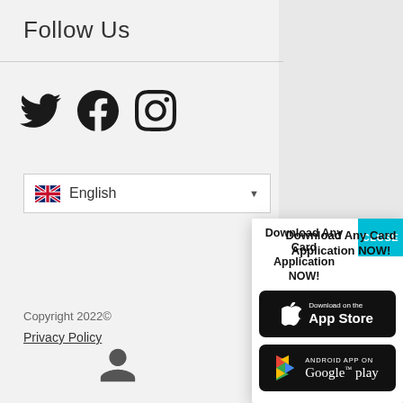Follow Us
[Figure (illustration): Social media icons: Twitter bird, Facebook f, Instagram camera]
[Figure (screenshot): Language selector dropdown showing UK flag and 'English' with dropdown arrow]
Copyright 2022©
Privacy Policy
[Figure (infographic): Popup modal overlay with cyan CLOSE button, title 'Download Any Card Application NOW!', App Store and Google Play download buttons]
[Figure (illustration): User/person icon at bottom of page]